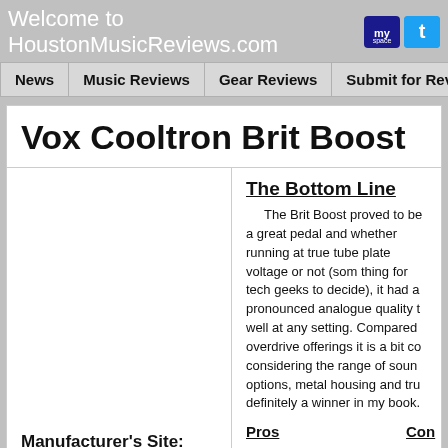Welcome to HoustonMusicReviews.com
News | Music Reviews | Gear Reviews | Submit for Review
Vox Cooltron Brit Boost
The Bottom Line
    The Brit Boost proved to be a great pedal and whether running at true tube plate voltage or not (something for tech geeks to decide), it had a very pronounced analogue quality that sounded well at any setting. Compared to other overdrive offerings it is a bit costly, but considering the range of sound shaping options, metal housing and true bypass, it's definitely a winner in my book.
Pros
Cons
Manufacturer's Site:
www.voxamps.com
Reviewed by: A. Dorian
Versatility
Sound